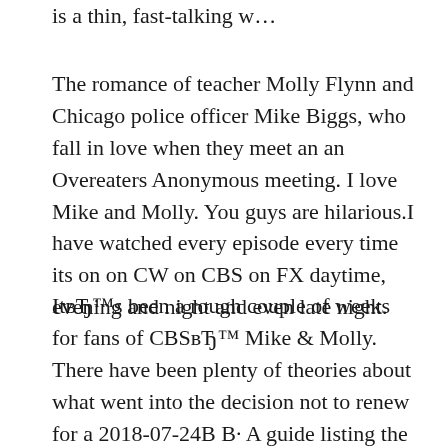is a thin, fast-talking w…
The romance of teacher Molly Flynn and Chicago police officer Mike Biggs, who fall in love when they meet an an Overeaters Anonymous meeting. I love Mike and Molly. You guys are hilarious.I have watched every episode every time its on on CW on CBS on FX daytime, evening and night and even late night.
ItвЂ™s been a rough couple of weeks for fans of CBSвЂ™ Mike & Molly. There have been plenty of theories about what went into the decision not to renew for a 2018-07-24В В· A guide listing the titles and air dates for episodes of the TV series Mike & Molly.